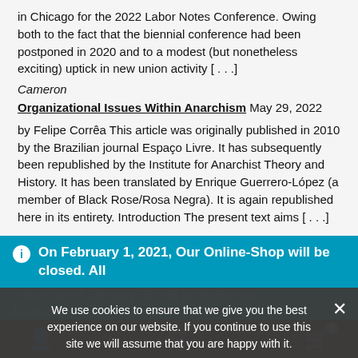in Chicago for the 2022 Labor Notes Conference. Owing both to the fact that the biennial conference had been postponed in 2020 and to a modest (but nonetheless exciting) uptick in new union activity [...]
Cameron
Organizational Issues Within Anarchism May 29, 2022 by Felipe Corrêa This article was originally published in 2010 by the Brazilian journal Espaço Livre. It has subsequently been republished by the Institute for Anarchist Theory and History. It has been translated by Enrique Guerrero-López (a member of Black Rose/Rosa Negra). It is again republished here in its entirety. Introduction The present text aims [...]
On February 1, 2021, Our Online-Shop will be closed. All orders until January 31 will be delivered
Dismiss
We use cookies to ensure that we give you the best experience on our website. If you continue to use this site we will assume that you are happy with it.
Ok